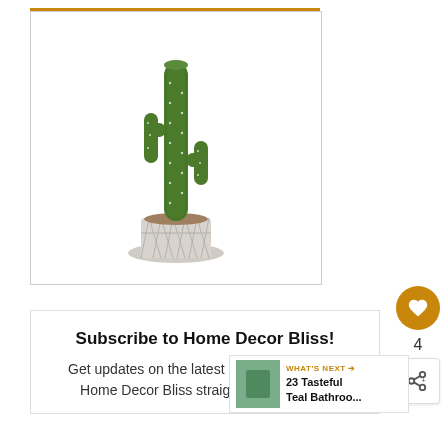[Figure (photo): Artificial saguaro cactus plant in a white geometric-patterned ceramic pot, displayed against a white background inside a bordered product image box with an orange top border line.]
4
Subscribe to Home Decor Bliss!
Get updates on the latest posts and more from Home Decor Bliss straight to your inbox.
WHAT'S NEXT → 23 Tasteful Teal Bathroo...